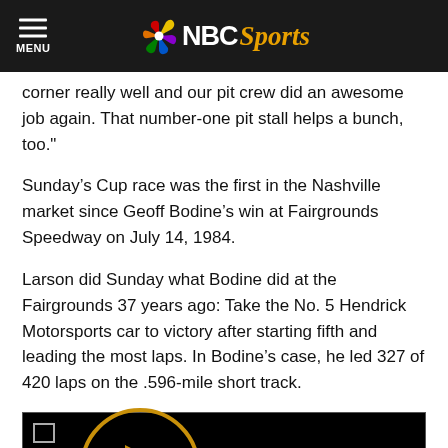MENU | NBC Sports
corner really well and our pit crew did an awesome job again. That number-one pit stall helps a bunch, too."
Sunday’s Cup race was the first in the Nashville market since Geoff Bodine’s win at Fairgrounds Speedway on July 14, 1984.
Larson did Sunday what Bodine did at the Fairgrounds 37 years ago: Take the No. 5 Hendrick Motorsports car to victory after starting fifth and leading the most laps. In Bodine’s case, he led 327 of 420 laps on the .596-mile short track.
[Figure (screenshot): Video player with black background, small square icon in top-left corner, and a golden play button circle on the left side.]